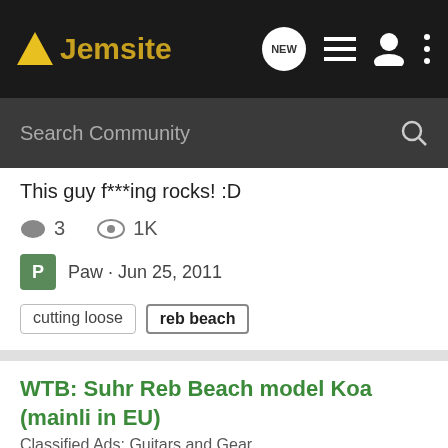Jemsite
Search Community
This guy f***ing rocks! :D
3   1K
Paw · Jun 25, 2011
cutting loose   reb beach
WTB: Suhr Reb Beach model Koa (mainli in EU)
Classified Ads: Guitars and Gear
Hi guys I would like to buy the Reb Beach model by Suhr. All koa body with Pau ferro neck and board. Preferibily glossy finish but oiled natural finish will be welcome. Contact Info: PM or javinavarro2@hotmail.com One like this one (picture is taken from internet as example)...
0   960